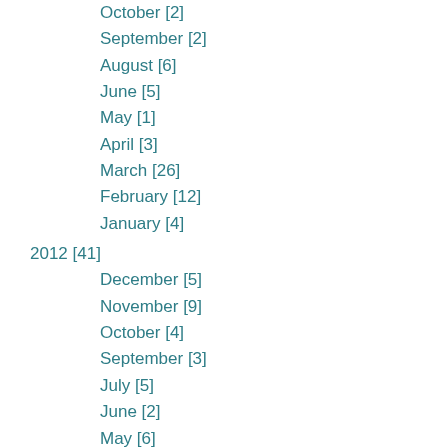October [2]
September [2]
August [6]
June [5]
May [1]
April [3]
March [26]
February [12]
January [4]
2012 [41]
December [5]
November [9]
October [4]
September [3]
July [5]
June [2]
May [6]
April [1]
March [2]
February [3]